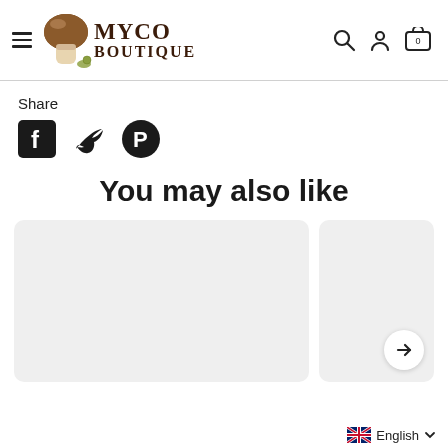MYCO BOUTIQUE — navigation header with logo, search, account, and cart icons
Share
[Figure (other): Social share icons: Facebook (black square with F), Twitter (black bird), Pinterest (black circle with P)]
You may also like
[Figure (other): Large product card placeholder (light grey rounded rectangle)]
[Figure (other): Smaller product card placeholder (light grey rounded rectangle) with a right-arrow navigation button]
English